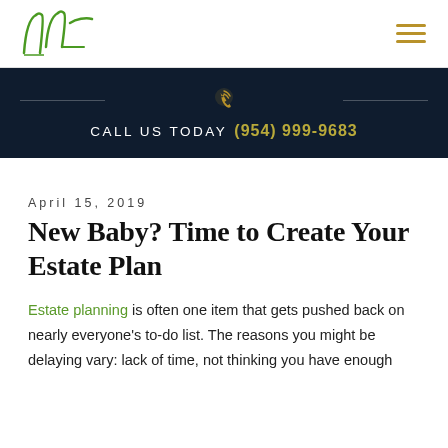LLF logo and navigation menu
[Figure (infographic): Call us today banner with phone icon, lines and phone number (954) 999-9683]
April 15, 2019
New Baby? Time to Create Your Estate Plan
Estate planning is often one item that gets pushed back on nearly everyone's to-do list. The reasons you might be delaying vary: lack of time, not thinking you have enough